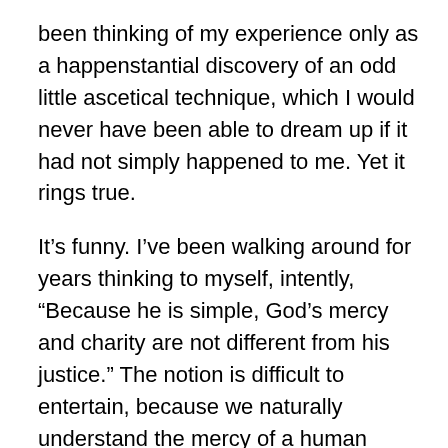been thinking of my experience only as a happenstantial discovery of an odd little ascetical technique, which I would never have been able to dream up if it had not simply happened to me. Yet it rings true.
It's funny. I've been walking around for years thinking to myself, intently, “Because he is simple, God’s mercy and charity are not different from his justice.” The notion is difficult to entertain, because we naturally understand the mercy of a human judge as a suspension or deformation or softening of sheer untrammeled relentless justice. It is not. What we understand as lenience from a jurist must, if he be truly just, be rather his correct application of the law to the concrete situation he has discovered.
For example, he could sentence the 18 year old first time offender to the maximum penalty. But while this would be